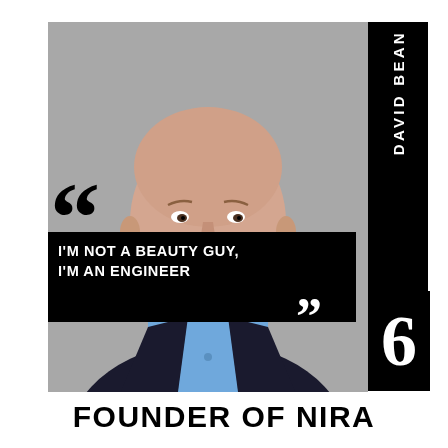[Figure (photo): Portrait photo of David Bean, a bald middle-aged man in a dark blazer and light blue shirt, against a gray background]
““ I’M NOT A BEAUTY GUY, I’M AN ENGINEER ””
DAVID BEAN
6
FOUNDER OF NIRA